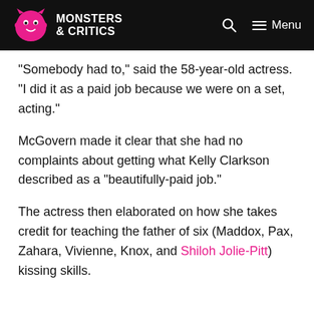Monsters & Critics — Menu
“Somebody had to,” said the 58-year-old actress. “I did it as a paid job because we were on a set, acting.”
McGovern made it clear that she had no complaints about getting what Kelly Clarkson described as a “beautifully-paid job.”
The actress then elaborated on how she takes credit for teaching the father of six (Maddox, Pax, Zahara, Vivienne, Knox, and Shiloh Jolie-Pitt) kissing skills.